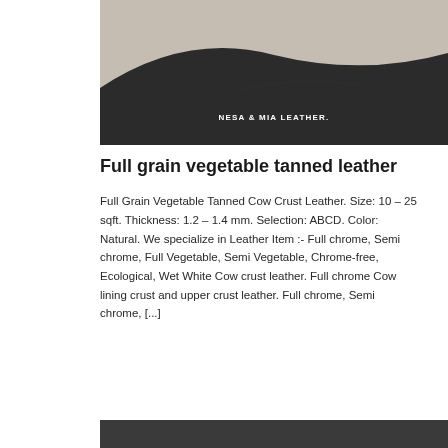[Figure (photo): Close-up photo of dark charcoal/black leather piece with curved top edge against a beige/taupe background. Text overlay reads 'NESA & MIA LEATHER.' in white uppercase letters.]
Full grain vegetable tanned leather
Full Grain Vegetable Tanned Cow Crust Leather. Size: 10 – 25 sqft. Thickness: 1.2 – 1.4 mm. Selection: ABCD. Color: Natural. We specialize in Leather Item :- Full chrome, Semi chrome, Full Vegetable, Semi Vegetable, Chrome-free, Ecological, Wet White Cow crust leather. Full chrome Cow lining crust and upper crust leather. Full chrome, Semi chrome, [...]